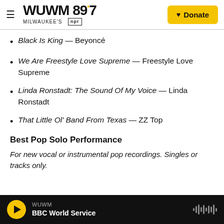WUWM 89.7 MILWAUKEE'S NPR — Donate
Black Is King — Beyoncé
We Are Freestyle Love Supreme — Freestyle Love Supreme
Linda Ronstadt: The Sound Of My Voice — Linda Ronstadt
That Little Ol' Band From Texas — ZZ Top
Best Pop Solo Performance
For new vocal or instrumental pop recordings. Singles or tracks only.
WUWM BBC World Service